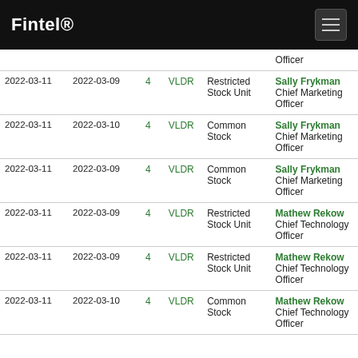Fintel®
| Filed | Date | Form | Ticker | Security | Insider |
| --- | --- | --- | --- | --- | --- |
|  |  |  |  |  | Officer |
| 2022-03-11 | 2022-03-09 | 4 | VLDR | Restricted Stock Unit | Sally Frykman
Chief Marketing Officer |
| 2022-03-11 | 2022-03-10 | 4 | VLDR | Common Stock | Sally Frykman
Chief Marketing Officer |
| 2022-03-11 | 2022-03-09 | 4 | VLDR | Common Stock | Sally Frykman
Chief Marketing Officer |
| 2022-03-11 | 2022-03-09 | 4 | VLDR | Restricted Stock Unit | Mathew Rekow
Chief Technology Officer |
| 2022-03-11 | 2022-03-09 | 4 | VLDR | Restricted Stock Unit | Mathew Rekow
Chief Technology Officer |
| 2022-03-11 | 2022-03-10 | 4 | VLDR | Common Stock | Mathew Rekow
Chief Technology Officer |